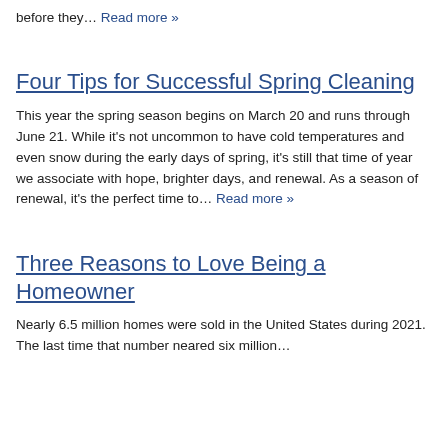before they… Read more »
Four Tips for Successful Spring Cleaning
This year the spring season begins on March 20 and runs through June 21. While it's not uncommon to have cold temperatures and even snow during the early days of spring, it's still that time of year we associate with hope, brighter days, and renewal. As a season of renewal, it's the perfect time to… Read more »
Three Reasons to Love Being a Homeowner
Nearly 6.5 million homes were sold in the United States during 2021. The last time that number neared six million…